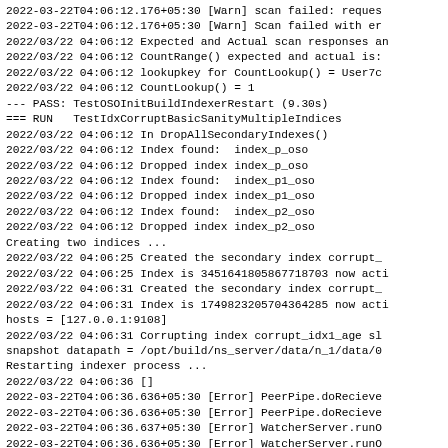2022-03-22T04:06:12.176+05:30 [Warn] scan failed: reques
2022-03-22T04:06:12.176+05:30 [Warn] Scan failed with er
2022/03/22 04:06:12 Expected and Actual scan responses an
2022/03/22 04:06:12 CountRange() expected and actual is:
2022/03/22 04:06:12 lookupkey for CountLookup() = User7c
2022/03/22 04:06:12 CountLookup() = 1
--- PASS: TestOSOInitBuildIndexerRestart (9.30s)
=== RUN   TestIdxCorruptBasicSanityMultipleIndices
2022/03/22 04:06:12 In DropAllSecondaryIndexes()
2022/03/22 04:06:12 Index found:  index_p_oso
2022/03/22 04:06:12 Dropped index index_p_oso
2022/03/22 04:06:12 Index found:  index_p1_oso
2022/03/22 04:06:12 Dropped index index_p1_oso
2022/03/22 04:06:12 Index found:  index_p2_oso
2022/03/22 04:06:12 Dropped index index_p2_oso
Creating two indices ...
2022/03/22 04:06:25 Created the secondary index corrupt_
2022/03/22 04:06:25 Index is 3451641805867718703 now acti
2022/03/22 04:06:31 Created the secondary index corrupt_
2022/03/22 04:06:31 Index is 1749823205704364285 now acti
hosts = [127.0.0.1:9108]
2022/03/22 04:06:31 Corrupting index corrupt_idx1_age sl
snapshot datapath = /opt/build/ns_server/data/n_1/data/0
Restarting indexer process ...
2022/03/22 04:06:36 []
2022-03-22T04:06:36.636+05:30 [Error] PeerPipe.doRecieve
2022-03-22T04:06:36.636+05:30 [Error] PeerPipe.doRecieve
2022-03-22T04:06:36.637+05:30 [Error] WatcherServer.runO
2022-03-22T04:06:36.636+05:30 [Error] WatcherServer.runO
2022/03/22 04:06:57 Using n1ql client
2022-03-22T04:06:57.693+05:30 [Error] transport error be